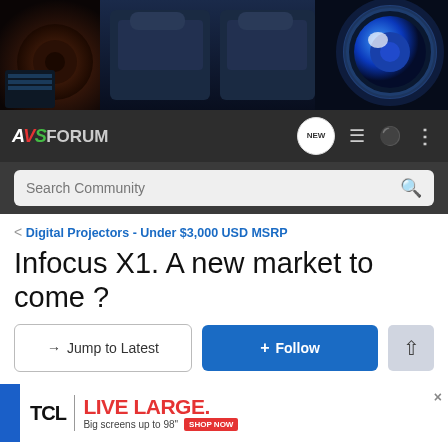[Figure (photo): AVS Forum website header hero banner showing home theater equipment: speaker on left, luxury seats in center, projector with blue lens glow on right, dark blue background]
AVSForum navigation bar with logo, NEW button, menu icon, user icon, and more options icon
Search Community
< Digital Projectors - Under $3,000 USD MSRP
Infocus X1. A new market to come ?
→ Jump to Latest
+ Follow
[Figure (screenshot): TCL advertisement banner: TCL | LIVE LARGE. Big screens up to 98" SHOP NOW button]